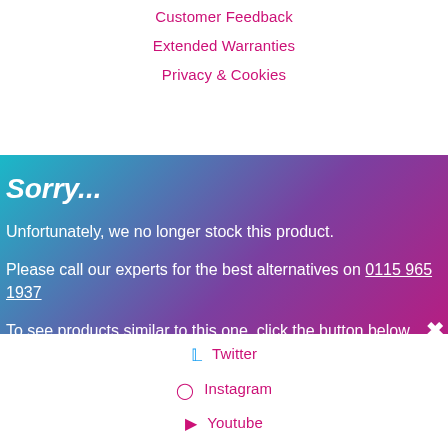Customer Feedback
Extended Warranties
Privacy & Cookies
Sorry...
Unfortunately, we no longer stock this product.
Please call our experts for the best alternatives on 0115 965 1937
To see products similar to this one, click the button below.
See Similar Products
Twitter
Instagram
Youtube